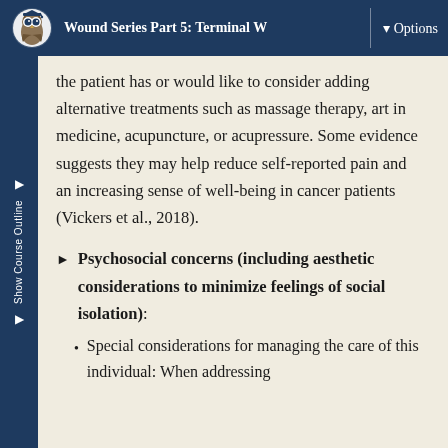Wound Series Part 5: Terminal W | Options
the patient has or would like to consider adding alternative treatments such as massage therapy, art in medicine, acupuncture, or acupressure. Some evidence suggests they may help reduce self-reported pain and an increasing sense of well-being in cancer patients (Vickers et al., 2018).
Psychosocial concerns (including aesthetic considerations to minimize feelings of social isolation):
Special considerations for managing the care of this individual: When addressing